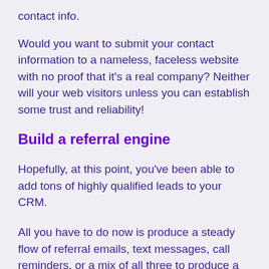contact info.
Would you want to submit your contact information to a nameless, faceless website with no proof that it’s a real company? Neither will your web visitors unless you can establish some trust and reliability!
Build a referral engine
Hopefully, at this point, you’ve been able to add tons of highly qualified leads to your CRM.
All you have to do now is produce a steady flow of referral emails, text messages, call reminders, or a mix of all three to produce a simple referral message: